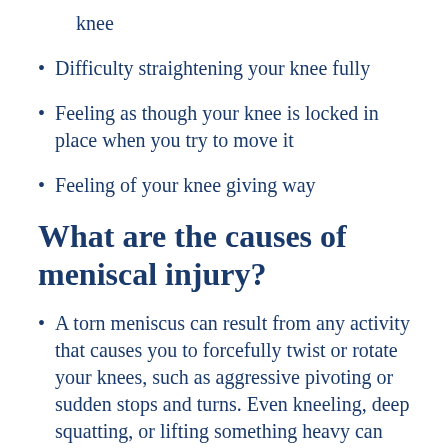knee
Difficulty straightening your knee fully
Feeling as though your knee is locked in place when you try to move it
Feeling of your knee giving way
What are the causes of meniscal injury?
A torn meniscus can result from any activity that causes you to forcefully twist or rotate your knees, such as aggressive pivoting or sudden stops and turns. Even kneeling, deep squatting, or lifting something heavy can sometimes lead